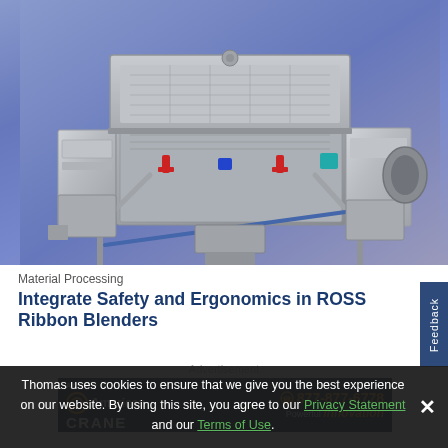[Figure (photo): Industrial stainless steel ribbon blender machine with open lid, showing mixing trough, discharge valve, and support frame, photographed against a blue-purple gradient background.]
Material Processing
Integrate Safety and Ergonomics in ROSS Ribbon Blenders
Advertisement
[Figure (photo): Advertisement banner for ACECO American Crane with phone number 877-877-6778 and tagline Powerful Innovation on dark navy background.]
Thomas uses cookies to ensure that we give you the best experience on our website. By using this site, you agree to our Privacy Statement and our Terms of Use.